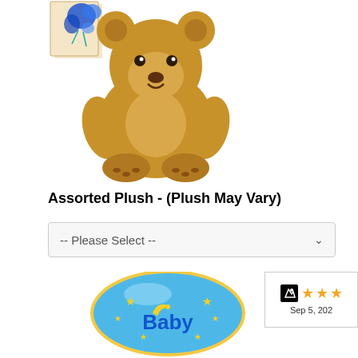[Figure (photo): Small greeting card with blue floral design, partially visible at top left]
[Figure (photo): Brown teddy bear plush toy sitting upright on white background]
Assorted Plush - (Plush May Vary)
-- Please Select --
[Figure (photo): Blue baby balloon with 'Baby' text, stars, moon and cradle design]
[Figure (other): Shopper Approved rating badge showing 3 orange stars and date Sep 5, 202X]